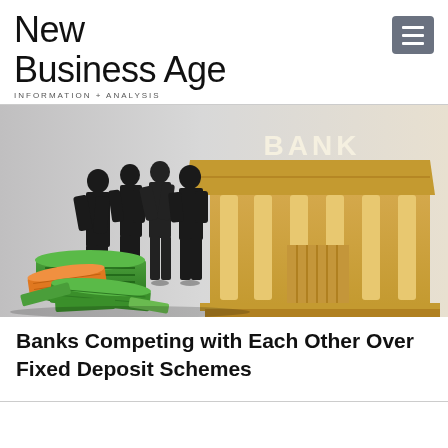New Business Age
INFORMATION + ANALYSIS
[Figure (illustration): Illustration of silhouetted business people standing in front of a golden bank building with columns and 'BANK' text on the facade, with stacks of green currency notes in the foreground]
Banks Competing with Each Other Over Fixed Deposit Schemes